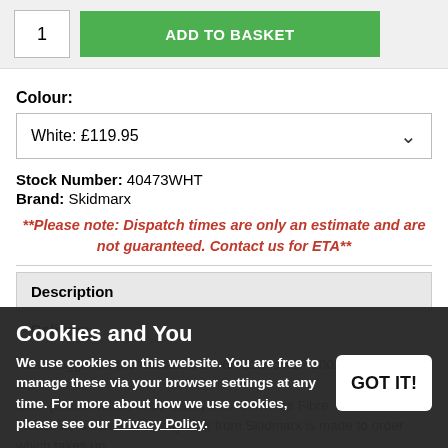1  ADD TO BASKET
Colour:
White:  £119.95
Stock Number:  40473WHT
Brand:  Skidmarx
**Please note: Dispatch times are only an estimate and are not guaranteed. Contact us for ETA**
Description
Delivery
Rear Hugger for the Kawasaki ZX-6R 636cc A1P 2002
made from GRP (Glass Reinforced Plastic) also known as Fibre
Please be aware most bodywork from Skidmarx is made to order which takes up to 21 working days.
Cookies and You
We use cookies on this website. You are free to manage these via your browser settings at any time. For more about how we use cookies, please see our Privacy Policy.
GOT IT!